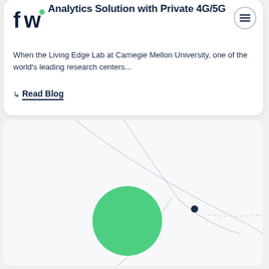[Figure (logo): fw logo with dark blue letters and green dot]
Analytics Solution with Private 4G/5G
When the Living Edge Lab at Carnegie Mellon University, one of the world's leading research centers...
↳ Read Blog
[Figure (illustration): Abstract decorative graphic with curved lines and a large green circle with a small dark dot, on a light gray background]